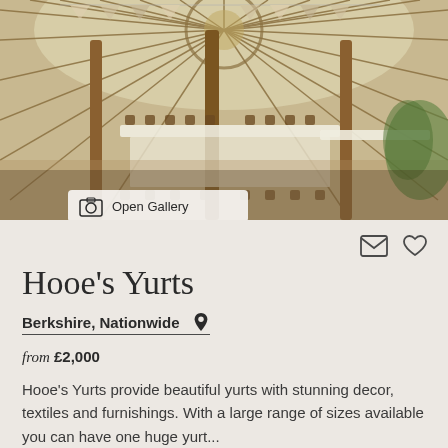[Figure (photo): Interior of a large yurt wedding venue with radial wooden beam ceiling, bunting, long dining tables with white tablecloths, and wooden cross-back chairs, with natural light coming through the canvas sides]
Open Gallery
Hooe's Yurts
Berkshire, Nationwide
from £2,000
Hooe's Yurts provide beautiful yurts with stunning decor, textiles and furnishings. With a large range of sizes available you can have one huge yurt...